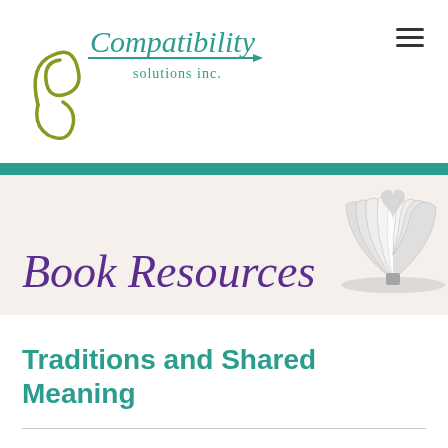[Figure (logo): Compatibility Solutions Inc. logo with teal italic text and olive green decorative swirl with arrow]
[Figure (illustration): Open book with pages fanned into a heart shape, grayscale, in the banner area]
Book Resources
Traditions and Shared Meaning
Additional Information for Chapter 3, page 13